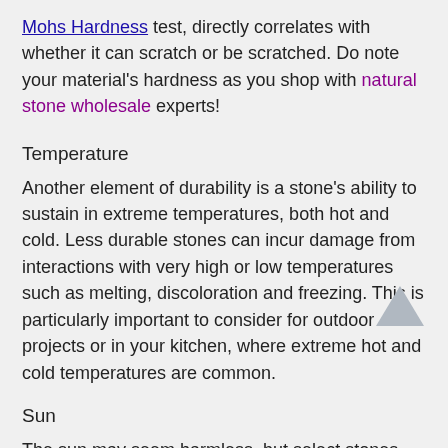Mohs Hardness test, directly correlates with whether it can scratch or be scratched. Do note your material's hardness as you shop with natural stone wholesale experts!
Temperature
Another element of durability is a stone's ability to sustain in extreme temperatures, both hot and cold. Less durable stones can incur damage from interactions with very high or low temperatures such as melting, discoloration and freezing. This is particularly important to consider for outdoor projects or in your kitchen, where extreme hot and cold temperatures are common.
Sun
The sun may seem harmless, but select stones are particularly sensitive to sunlight. In some, sunlight can cause fading and discoloration. For example, quartz is